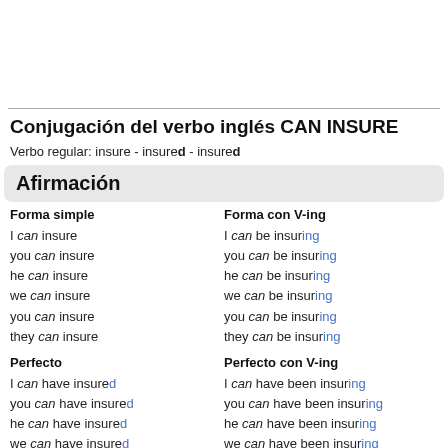Conjugación del verbo inglés CAN INSURE
Verbo regular: insure - insured - insured
Afirmación
Forma simple
I can insure
you can insure
he can insure
we can insure
you can insure
they can insure
Forma con V-ing
I can be insuring
you can be insuring
he can be insuring
we can be insuring
you can be insuring
they can be insuring
Perfecto
I can have insured
you can have insured
he can have insured
Perfecto con V-ing
I can have been insuring
you can have been insuring
he can have been insuring